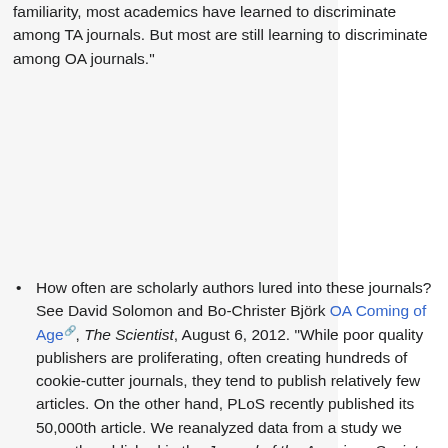familiarity, most academics have learned to discriminate among TA journals. But most are still learning to discriminate among OA journals."
How often are scholarly authors lured into these journals? See David Solomon and Bo-Christer Björk OA Coming of Age, The Scientist, August 6, 2012. "While poor quality publishers are proliferating, often creating hundreds of cookie-cutter journals, they tend to publish relatively few articles. On the other hand, PLoS recently published its 50,000th article. We reanalyzed data from a study we recently published in the Journal of the American Society for